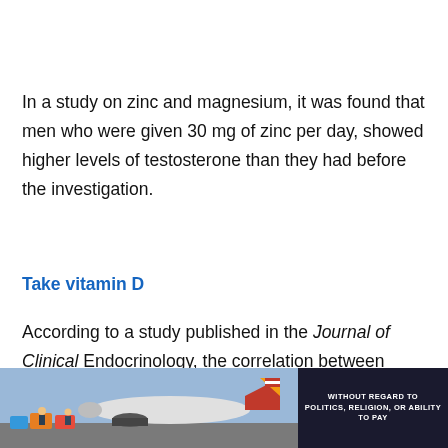In a study on zinc and magnesium, it was found that men who were given 30 mg of zinc per day, showed higher levels of testosterone than they had before the investigation.
Take vitamin D
According to a study published in the Journal of Clinical Endocrinology, the correlation between
[Figure (photo): Advertisement banner showing an airplane being loaded with cargo, with a dark panel on the right reading 'WITHOUT REGARD TO POLITICS, RELIGION, OR ABILITY TO PAY']